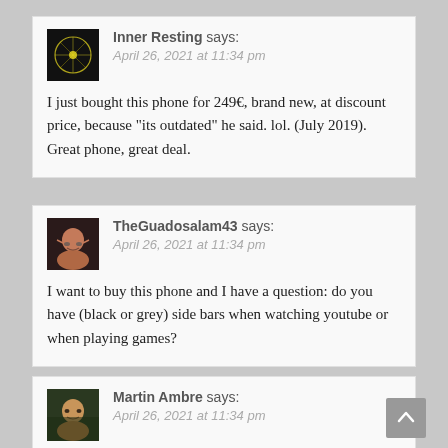Inner Resting says:
April 26, 2021 at 11:34 pm

I just bought this phone for 249€, brand new, at discount price, because "its outdated" he said. lol. (July 2019). Great phone, great deal.
TheGuadosalam43 says:
April 26, 2021 at 11:34 pm

I want to buy this phone and I have a question: do you have (black or grey) side bars when watching youtube or when playing games?
Martin Ambre says:
April 26, 2021 at 11:34 pm